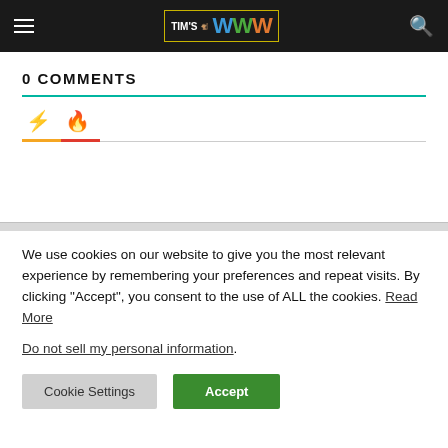Tim's WWW
0 COMMENTS
We use cookies on our website to give you the most relevant experience by remembering your preferences and repeat visits. By clicking “Accept”, you consent to the use of ALL the cookies. Read More
Do not sell my personal information.
Cookie Settings | Accept